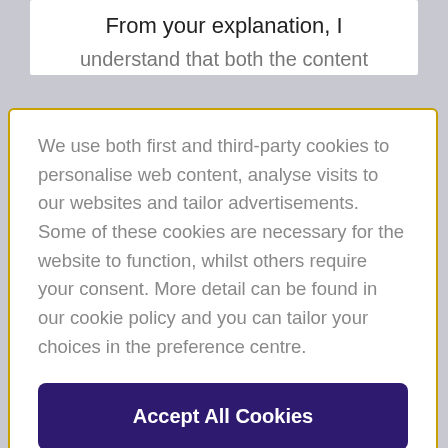From your explanation, I
We use both first and third-party cookies to personalise web content, analyse visits to our websites and tailor advertisements. Some of these cookies are necessary for the website to function, whilst others require your consent. More detail can be found in our cookie policy and you can tailor your choices in the preference centre.
Accept All Cookies
Cookies Settings